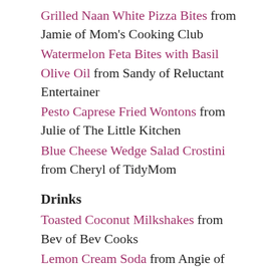Grilled Naan White Pizza Bites from Jamie of Mom's Cooking Club
Watermelon Feta Bites with Basil Olive Oil from Sandy of Reluctant Entertainer
Pesto Caprese Fried Wontons from Julie of The Little Kitchen
Blue Cheese Wedge Salad Crostini from Cheryl of TidyMom
Drinks
Toasted Coconut Milkshakes from Bev of Bev Cooks
Lemon Cream Soda from Angie of Eclectic Recipes